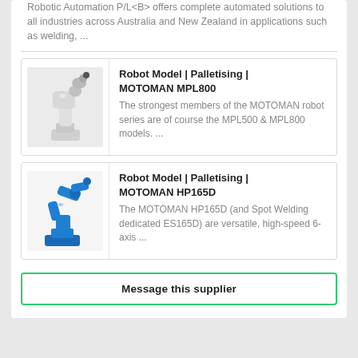Robotic Automation P/L</B> offers complete automated solutions to all industries across Australia and New Zealand in applications such as welding, ...
[Figure (photo): White industrial palletising robot arm (MOTOMAN MPL800) on grey background]
Robot Model | Palletising | MOTOMAN MPL800
The strongest members of the MOTOMAN robot series are of course the MPL500 & MPL800 models. ...
[Figure (photo): Blue industrial 6-axis robot arm (MOTOMAN HP165D) on light background]
Robot Model | Palletising | MOTOMAN HP165D
The MOTOMAN HP165D (and Spot Welding dedicated ES165D) are versatile, high-speed 6-axis ...
Message this supplier